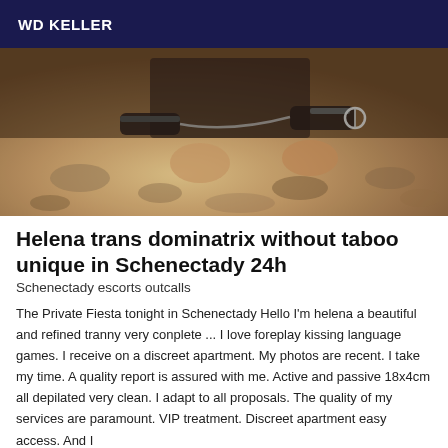WD KELLER
[Figure (photo): Close-up photo of a person's hands/wrists with leather bondage cuffs and chain, kneeling on sandy/rocky ground]
Helena trans dominatrix without taboo unique in Schenectady 24h
Schenectady escorts outcalls
The Private Fiesta tonight in Schenectady Hello I'm helena a beautiful and refined tranny very conplete ... I love foreplay kissing language games. I receive on a discreet apartment. My photos are recent. I take my time. A quality report is assured with me. Active and passive 18x4cm all depilated very clean. I adapt to all proposals. The quality of my services are paramount. VIP treatment. Discreet apartment easy access. And I